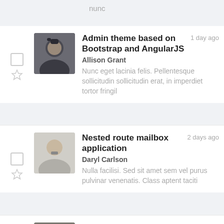nunc
Admin theme based on Bootstrap and AngularJS | Allison Grant | 1 day ago | Nunc eget lacinia felis. Pellentesque sollicitudin sollicitudin erat, in imperdiet tortor fringil
Nested route mailbox application | Daryl Carlson | 2 days ago | Nulla facilisi. Sed sit amet sem vel purus pulvinar venenatis. Class aptent taciti
Angular with lazy load components | George Clark | 3 days ago | Integer sit amet vulputate mauris. Proin purus nisl, tempor